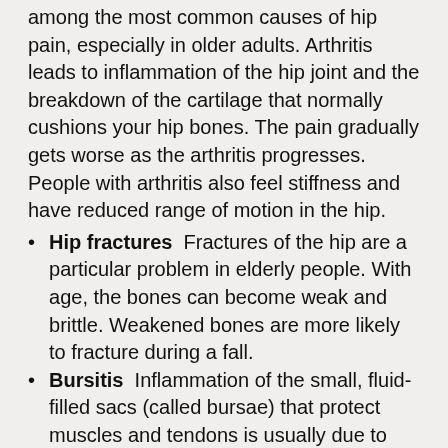among the most common causes of hip pain, especially in older adults. Arthritis leads to inflammation of the hip joint and the breakdown of the cartilage that normally cushions your hip bones. The pain gradually gets worse as the arthritis progresses. People with arthritis also feel stiffness and have reduced range of motion in the hip.
Hip fractures  Fractures of the hip are a particular problem in elderly people. With age, the bones can become weak and brittle. Weakened bones are more likely to fracture during a fall.
Bursitis  Inflammation of the small, fluid-filled sacs (called bursae) that protect muscles and tendons is usually due to repetitive activities that overwork or irritate the hip joint.
Tendonitis  Tendons are the thick bands of tissue that attach bones to muscles. Tendonitis is...